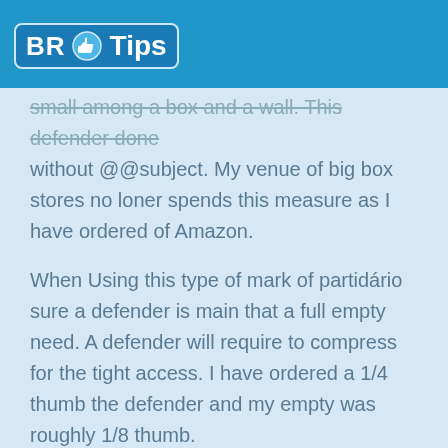BR Tips
small among a box and a wall. This defender done without @@subject. My venue of big box stores no loner spends this measure as I have ordered of Amazon.
When Using this type of mark of partidário sure a defender is main that a full empty need. A defender will require to compress for the tight access. I have ordered a 1/4 thumb the defender and my empty was roughly 1/8 thumb.
A plus my container has contained 100 feet of a defender in the just prize. I so only required roughly three feet. An extra cam in handy. I